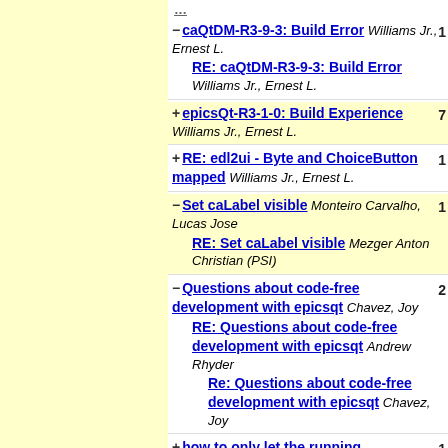- caQtDM-R3-9-3: Build Error Williams Jr., Ernest L. RE: caQtDM-R3-9-3: Build Error Williams Jr., Ernest L. [1]
+ epicsQt-R3-1-0: Build Experience Williams Jr., Ernest L. [7]
+ RE: edl2ui - Byte and ChoiceButton mapped Williams Jr., Ernest L. [1]
- Set caLabel visible Monteiro Carvalho, Lucas Jose RE: Set caLabel visible Mezger Anton Christian (PSI) [1]
- Questions about code-free development with epicsqt Chavez, Joy RE: Questions about code-free development with epicsqt Andrew Rhyder Re: Questions about code-free development with epicsqt Chavez, Joy [2]
+ how to only let the running ... [1]